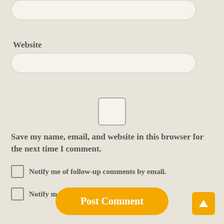Website
[Figure (screenshot): Text input field for Website (rounded rectangle, light cream background)]
[Figure (other): Large checkbox (unchecked, rounded square, light cream background)]
Save my name, email, and website in this browser for the next time I comment.
Notify me of follow-up comments by email.
Notify me of new posts by email.
Post Comment